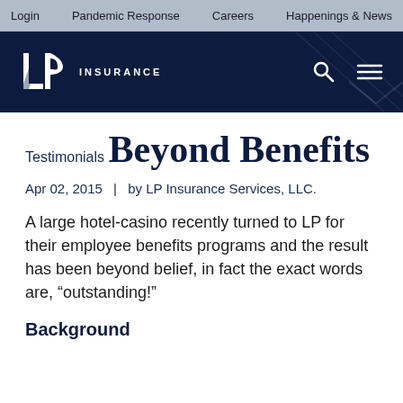Login | Pandemic Response | Careers | Happenings & News
[Figure (logo): LP Insurance logo with white LP letters on dark navy background, with search and menu icons]
Testimonials
Beyond Benefits
Apr 02, 2015  |  by LP Insurance Services, LLC.
A large hotel-casino recently turned to LP for their employee benefits programs and the result has been beyond belief, in fact the exact words are, “outstanding!”
Background